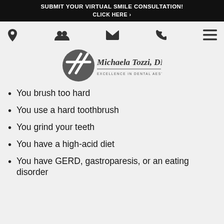SUBMIT YOUR VIRTUAL SMILE CONSULTATION! CLICK HERE ›
[Figure (logo): Navigation icons: location pin, people/team, envelope/email, phone, hamburger menu]
[Figure (logo): Michaela Tozzi, DMD — Excellence in Dental Aesthetics logo with circular MT monogram]
You brush too hard
You use a hard toothbrush
You grind your teeth
You have a high-acid diet
You have GERD, gastroparesis, or an eating disorder